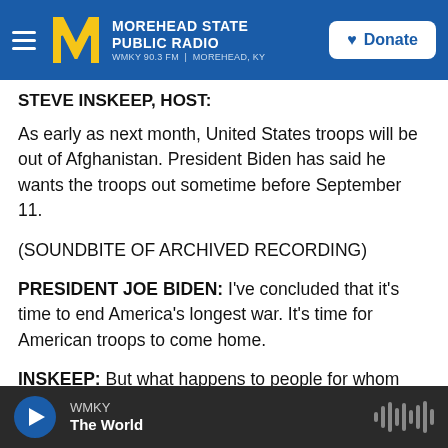MOREHEAD STATE PUBLIC RADIO | WMKY 90.3 FM | MOREHEAD, KY | Donate
STEVE INSKEEP, HOST:
As early as next month, United States troops will be out of Afghanistan. President Biden has said he wants the troops out sometime before September 11.
(SOUNDBITE OF ARCHIVED RECORDING)
PRESIDENT JOE BIDEN: I've concluded that it's time to end America's longest war. It's time for American troops to come home.
INSKEEP: But what happens to people for whom
WMKY | The World